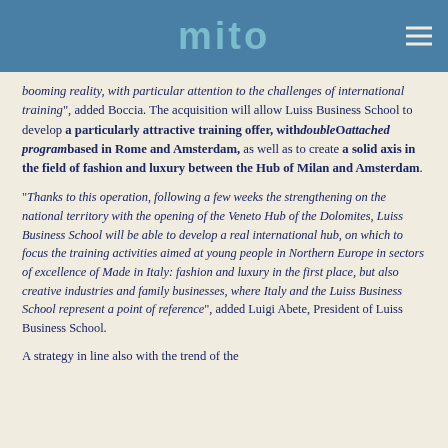mito
booming reality, with particular attention to the challenges of international training", added Boccia. The acquisition will allow Luiss Business School to develop a particularly attractive training offer, with double O attached program based in Rome and Amsterdam, as well as to create a solid axis in the field of fashion and luxury between the Hub of Milan and Amsterdam.
“Thanks to this operation, following a few weeks the strengthening on the national territory with the opening of the Veneto Hub of the Dolomites, Luiss Business School will be able to develop a real international hub, on which to focus the training activities aimed at young people in Northern Europe in sectors of excellence of Made in Italy: fashion and luxury in the first place, but also creative industries and family businesses, where Italy and the Luiss Business School represent a point of reference”, added Luigi Abete, President of Luiss Business School.
A strategy in line also with the trend of the